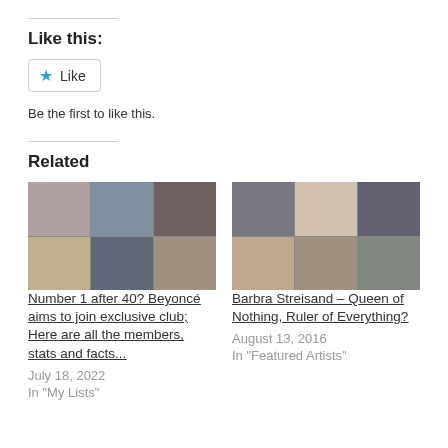Like this:
[Figure (other): Like button with star icon]
Be the first to like this.
Related
[Figure (photo): Collage of celebrity photos for Beyoncé article]
Number 1 after 40? Beyoncé aims to join exclusive club; Here are all the members, stats and facts...
July 18, 2022
In "My Lists"
[Figure (photo): Collage of photos for Barbra Streisand article]
Barbra Streisand – Queen of Nothing, Ruler of Everything?
August 13, 2016
In "Featured Artists"